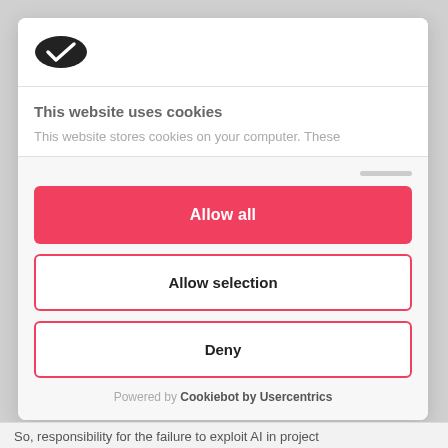[Figure (logo): Cookie/Cookiebot logo — dark oval shape with a checkmark, resembling a cookie]
This website uses cookies
This website stores cookies on your computer. These
Allow all
Allow selection
Deny
Powered by Cookiebot by Usercentrics
So, responsibility for the failure to exploit AI in project